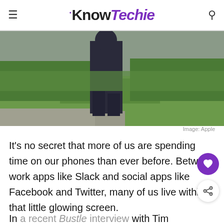KnowTechie
[Figure (photo): Outdoor photo showing a person from behind wearing dark clothing, standing on a path near a grassy field]
Image: Apple
It’s no secret that more of us are spending time on our phones than ever before. Between work apps like Slack and social apps like Facebook and Twitter, many of us live within that little glowing screen.
In a recent Bustle interview with Tim